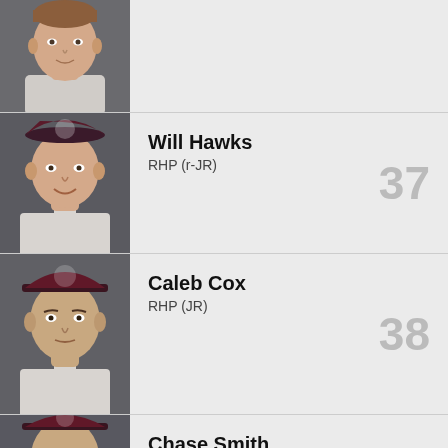[Figure (photo): Baseball player headshot, white uniform, no visible jersey number, partial view]
[Figure (photo): Baseball player headshot wearing maroon cap with team logo, white pinstripe uniform]
Will Hawks
RHP (r-JR)
37
[Figure (photo): Baseball player headshot wearing maroon cap with team logo, white pinstripe uniform]
Caleb Cox
RHP (JR)
38
[Figure (photo): Baseball player headshot wearing maroon cap with team logo]
Chase Smith
C (r-SO)
40